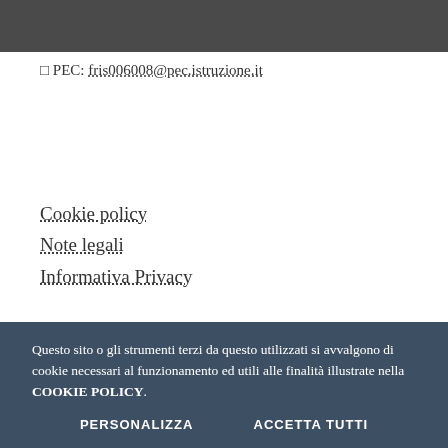□ PEC: fris006008@pec.istruzione.it
Cookie policy
Note legali
Informativa Privacy
Questo sito o gli strumenti terzi da questo utilizzati si avvalgono di cookie necessari al funzionamento ed utili alle finalità illustrate nella COOKIE POLICY.
PERSONALIZZA   ACCETTA TUTTI